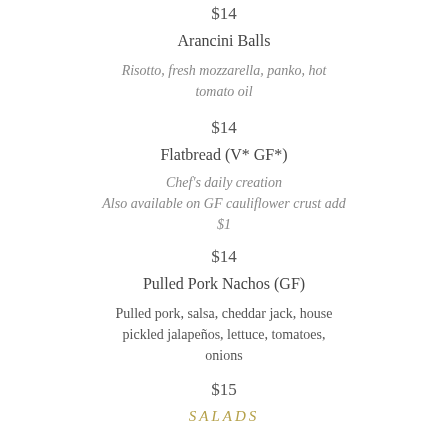$14
Arancini Balls
Risotto, fresh mozzarella, panko, hot tomato oil
$14
Flatbread (V* GF*)
Chef's daily creation
Also available on GF cauliflower crust add $1
$14
Pulled Pork Nachos (GF)
Pulled pork, salsa, cheddar jack, house pickled jalapeños, lettuce, tomatoes, onions
$15
SALADS